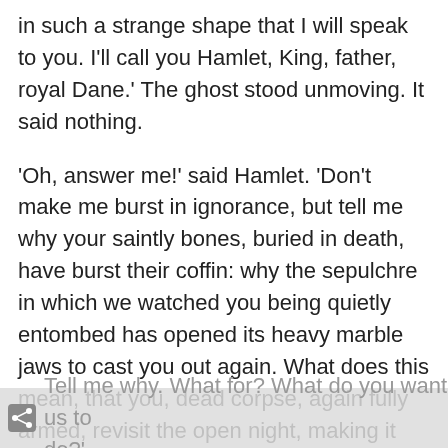in such a strange shape that I will speak to you. I'll call you Hamlet, King, father, royal Dane.' The ghost stood unmoving. It said nothing.
'Oh, answer me!' said Hamlet. 'Don't make me burst in ignorance, but tell me why your saintly bones, buried in death, have burst their coffin: why the sepulchre in which we watched you being quietly entombed has opened its heavy marble jaws to cast you out again. What does this mean, that you, dead corpse, again fully armed, revisit the open night, making it hideous: and we, living beings, shake so horridly, with thoughts we're unable to grasp?
Tell me why. What for? What do you want us to do?'